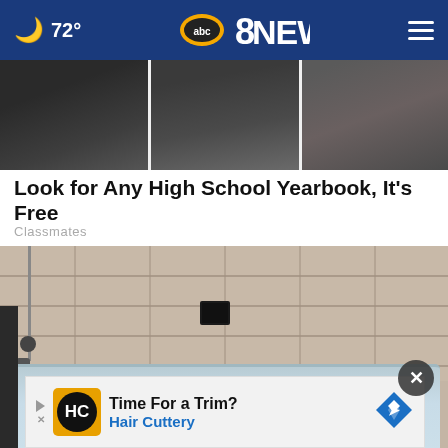🌙 72° abc8NEWS ≡
[Figure (photo): Cropped tops of three grayscale photos showing fabric/clothing, arranged side by side]
Look for Any High School Yearbook, It's Free
Classmates
[Figure (photo): Photo of a bathroom with a white bathtub against tiled wall with a drain and faucet fixture on the left side]
[Figure (other): Advertisement banner: HC Hair Cuttery logo with text 'Time For a Trim? Hair Cuttery' and navigation icon, with close (X) button]